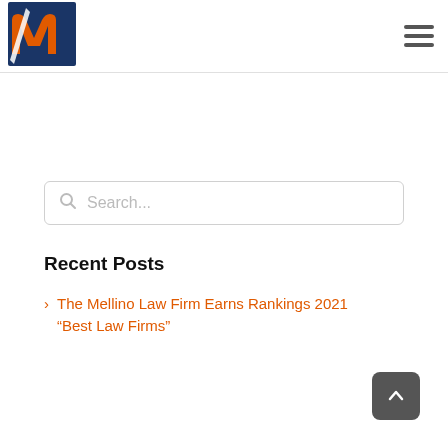Mellino Law Firm logo and navigation menu
Search...
Recent Posts
The Mellino Law Firm Earns Rankings 2021 "Best Law Firms"